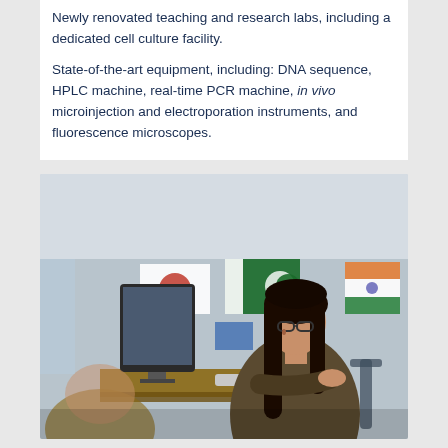Newly renovated teaching and research labs, including a dedicated cell culture facility.
State-of-the-art equipment, including: DNA sequence, HPLC machine, real-time PCR machine, in vivo microinjection and electroporation instruments, and fluorescence microscopes.
[Figure (photo): A female student with long dark hair and glasses sits at a wooden desk working on an iMac computer in a lounge or study area. Country flags including Pakistan and Japan are hanging in the background. Another student is partially visible in the foreground.]